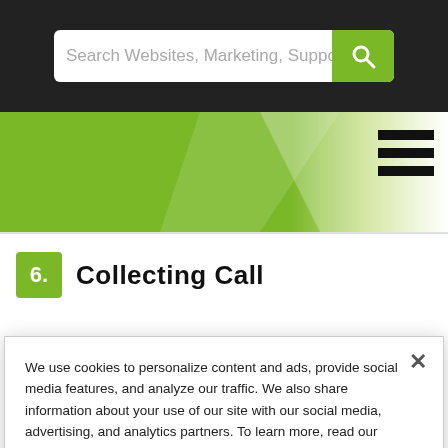[Figure (screenshot): Dark top bar with search input field reading 'Search Websites, Marketing, Suppo' and a green search button with magnifying glass icon]
[Figure (screenshot): Green diagonal banner with hamburger menu icon (three horizontal lines) on the right side]
6. Collecting Call
We use cookies to personalize content and ads, provide social media features, and analyze our traffic. We also share information about your use of our site with our social media, advertising, and analytics partners. To learn more, read our Cookie Policy
Cookies Settings
Reject Cookies
Accept Cookies